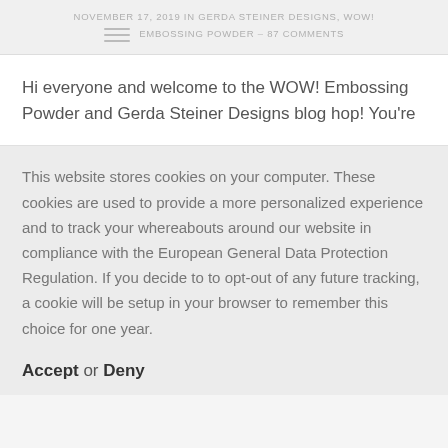NOVEMBER 17, 2019 in GERDA STEINER DESIGNS, WOW! EMBOSSING POWDER - 87 COMMENTS
Hi everyone and welcome to the WOW! Embossing Powder and Gerda Steiner Designs blog hop! You're
This website stores cookies on your computer. These cookies are used to provide a more personalized experience and to track your whereabouts around our website in compliance with the European General Data Protection Regulation. If you decide to to opt-out of any future tracking, a cookie will be setup in your browser to remember this choice for one year.
Accept or Deny